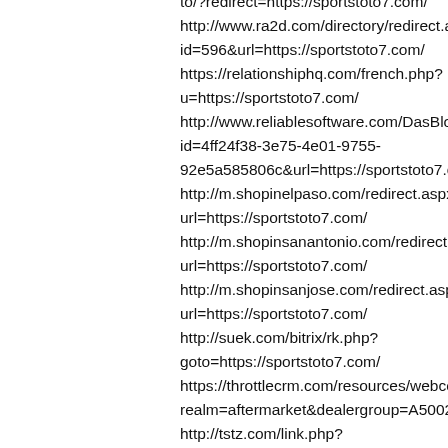to/?redirect=https://sportstoto7.com/ http://www.ra2d.com/directory/redirect.asp?id=596&url=https://sportstoto7.com/ https://relationshiphq.com/french.php?u=https://sportstoto7.com/ http://www.reliablesoftware.com/DasBlog/ct.ashx?id=4ff24f38-3e75-4e01-9755-92e5a585806c&url=https://sportstoto7.com/ http://m.shopinelpaso.com/redirect.aspx?url=https://sportstoto7.com/ http://m.shopinsanantonio.com/redirect.aspx?url=https://sportstoto7.com/ http://m.shopinsanjose.com/redirect.aspx?url=https://sportstoto7.com/ http://suek.com/bitrix/rk.php?goto=https://sportstoto7.com/ https://throttlecrm.com/resources/webcomponents/link.php?realm=aftermarket&dealergroup=A5002T&link= http://tstz.com/link.php?url=https://sportstoto7.com/